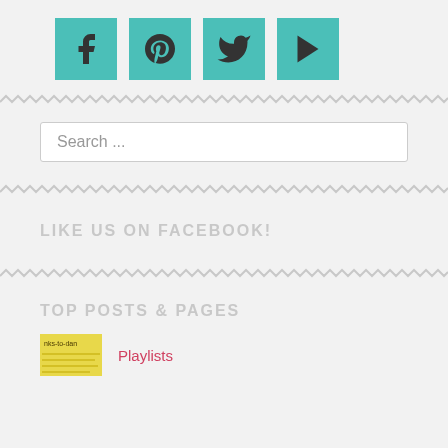[Figure (infographic): Four teal/turquoise square social media icon buttons: Facebook (f), Pinterest (P), Twitter (bird), YouTube (play button)]
[Figure (other): Zigzag/wavy decorative divider line in gray]
Search ...
[Figure (other): Zigzag/wavy decorative divider line in gray]
LIKE US ON FACEBOOK!
[Figure (other): Zigzag/wavy decorative divider line in gray]
TOP POSTS & PAGES
Playlists